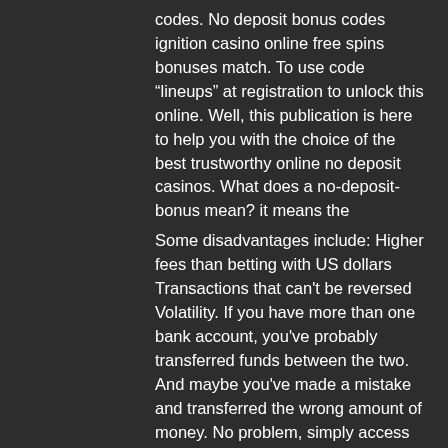codes. No deposit bonus codes ignition casino online free spins bonuses match. To use code “lineups” at registration to unlock this online. Well, this publication is here to help you with the choice of the best trustworthy online no deposit casinos. What does a no-deposit-bonus mean? it means the
Some disadvantages include: Higher fees than betting with US dollars Transactions that can't be reversed Volatility. If you have more than one bank account, you've probably transferred funds between the two. And maybe you've made a mistake and transferred the wrong amount of money. No problem, simply access your account online and reverse the transaction, best online casino no deposit bonus codes 2022. But that's not possible with Bitcoin.
BTC casino winners:
The last — from 50 d...